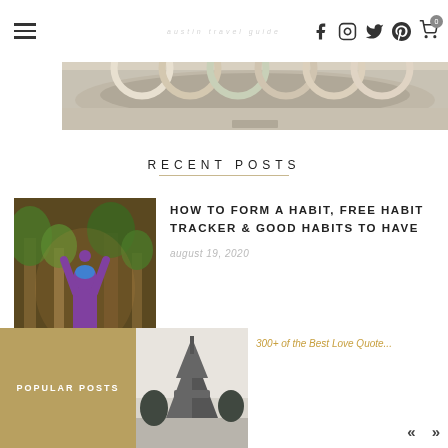austin travel guide
[Figure (photo): Hero image showing colorful linked rings sculpture at a fountain/plaza, with blurred background]
RECENT POSTS
[Figure (photo): Person with arms raised overhead wearing blue cap and purple top, photographed from behind in a park setting]
HOW TO FORM A HABIT, FREE HABIT TRACKER & GOOD HABITS TO HAVE
august 19, 2020
[Figure (photo): Black and white photo of Eiffel Tower]
POPULAR POSTS
300+ of the Best Love Quote...